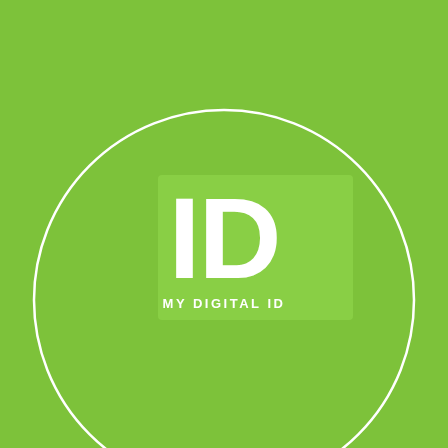[Figure (logo): My Digital ID logo: white 'ID' text in bold on a slightly lighter green rectangle, with 'MY DIGITAL ID' subtitle below, all centered inside a large white circle outline with small double-arc accents at bottom-left and bottom-right, on a bright green background.]